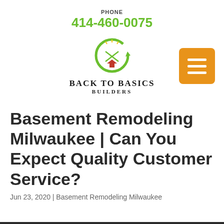PHONE
414-460-0075
[Figure (logo): Back To Basics Builders logo with circular green arrow and house icon, with company name below]
Basement Remodeling Milwaukee | Can You Expect Quality Customer Service?
Jun 23, 2020 | Basement Remodeling Milwaukee